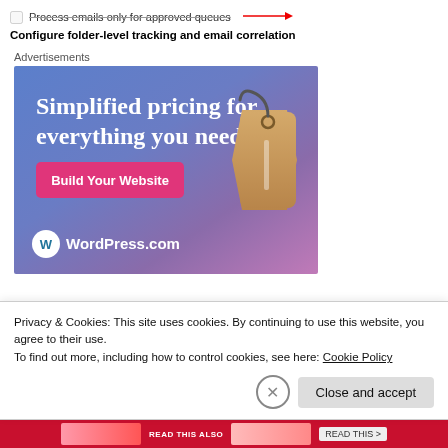Process emails only for approved queues
Configure folder-level tracking and email correlation
Advertisements
[Figure (illustration): WordPress.com advertisement banner with blue-purple gradient background, large white serif text reading 'Simplified pricing for everything you need.', a pink 'Build Your Website' button, a price tag illustration, and WordPress.com logo at bottom.]
Privacy & Cookies: This site uses cookies. By continuing to use this website, you agree to their use.
To find out more, including how to control cookies, see here: Cookie Policy